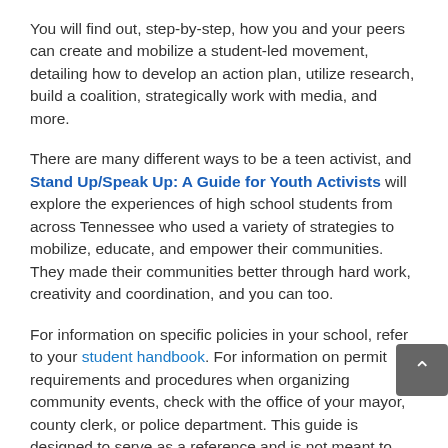You will find out, step-by-step, how you and your peers can create and mobilize a student-led movement, detailing how to develop an action plan, utilize research, build a coalition, strategically work with media, and more.
There are many different ways to be a teen activist, and Stand Up/Speak Up: A Guide for Youth Activists will explore the experiences of high school students from across Tennessee who used a variety of strategies to mobilize, educate, and empower their communities. They made their communities better through hard work, creativity and coordination, and you can too.
For information on specific policies in your school, refer to your student handbook. For information on permit requirements and procedures when organizing community events, check with the office of your mayor, county clerk, or police department. This guide is designed to serve as a reference and is not meant to provide legal advice.